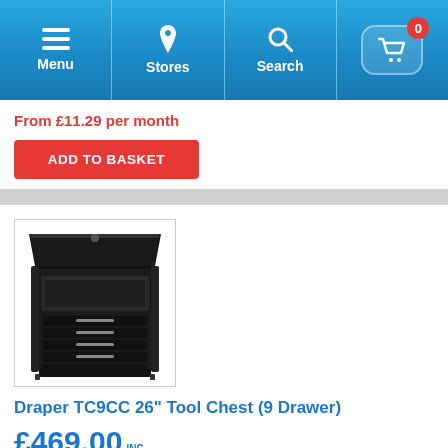Menu | Stores | Search | Basket (0)
From £11.29 per month
ADD TO BASKET
[Figure (photo): Black Draper TC9CC 26 inch 9-drawer tool chest with lid open, showing interior storage compartment and multiple drawers below]
Draper TC9CC 26" Tool Chest (9 Drawer)
£469.00 INC VAT
From £11.72 per month
ADD TO BASKET